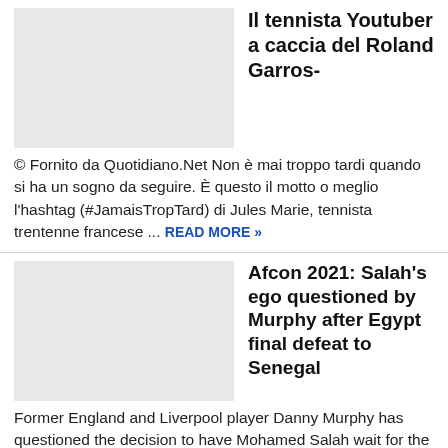[Figure (photo): Thumbnail image placeholder (light gray rectangle) for the tennis article]
Il tennista Youtuber a caccia del Roland Garros-
© Fornito da Quotidiano.Net Non è mai troppo tardi quando si ha un sogno da seguire. È questo il motto o meglio l'hashtag (#JamaisTropTard) di Jules Marie, tennista trentenne francese ...
READ MORE »
[Figure (photo): Thumbnail image placeholder (light gray rectangle) for the Afcon 2021 article]
Afcon 2021: Salah's ego questioned by Murphy after Egypt final defeat to Senegal
Former England and Liverpool player Danny Murphy has questioned the decision to have Mohamed Salah wait for the fifth penalty against Senegal in the Africa Cup of Nations final on
READ